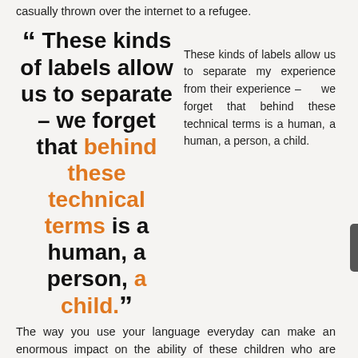casually thrown over the internet to a refugee.
These kinds of labels allow us to separate my experience from their experience – we forget that behind these technical terms is a human, a person, a child.
" These kinds of labels allow us to separate – we forget that behind these technical terms is a human, a person, a child."
The way you use your language everyday can make an enormous impact on the ability of these children who are locked in detention being able to realize their rights.